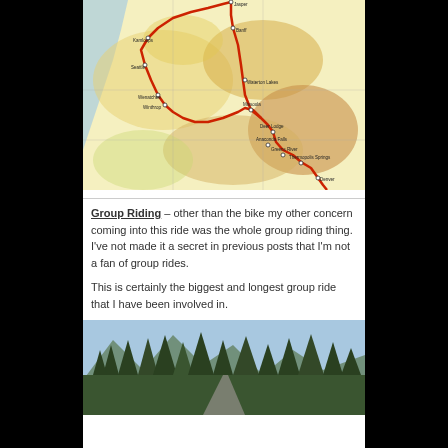[Figure (map): A route map of the Pacific Northwest region showing a red route line connecting cities including Jasper, Banff, Kamloops, Wenatchee, Winthrop, Seattle, Waterton Lakes, Missoula, Deer Lodge, Anaconda Falls, Greens River, Thermopolis Springs, Denver and other locations through Washington, Oregon, Montana and Wyoming states.]
Group Riding – other than the bike my other concern coming into this ride was the whole group riding thing.  I've not made it a secret in previous posts that I'm not a fan of group rides.
This is certainly the biggest and longest group ride that I have been involved in.
[Figure (photo): A photograph showing a road through a forest with tall conifer trees and mountains in the background.]